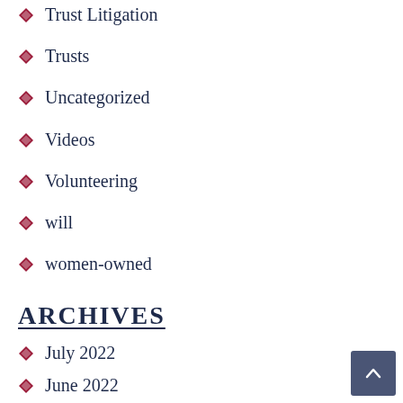Trust Litigation
Trusts
Uncategorized
Videos
Volunteering
will
women-owned
ARCHIVES
July 2022
June 2022
May 2022